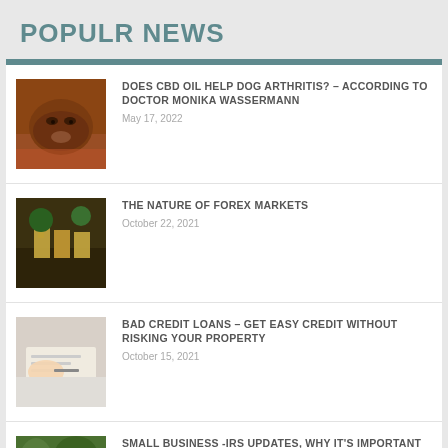POPULR NEWS
DOES CBD OIL HELP DOG ARTHRITIS? – ACCORDING TO DOCTOR MONIKA WASSERMANN
May 17, 2022
THE NATURE OF FOREX MARKETS
October 22, 2021
BAD CREDIT LOANS – GET EASY CREDIT WITHOUT RISKING YOUR PROPERTY
October 15, 2021
SMALL BUSINESS -IRS UPDATES, WHY IT'S IMPORTANT FOR BUSINESS OWNERS TO CHECK